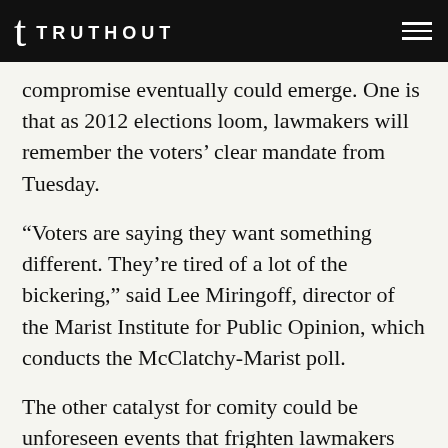TRUTHOUT
compromise eventually could emerge. One is that as 2012 elections loom, lawmakers will remember the voters’ clear mandate from Tuesday.
“Voters are saying they want something different. They’re tired of a lot of the bickering,” said Lee Miringoff, director of the Marist Institute for Public Opinion, which conducts the McClatchy-Marist poll.
The other catalyst for comity could be unforeseen events that frighten lawmakers into